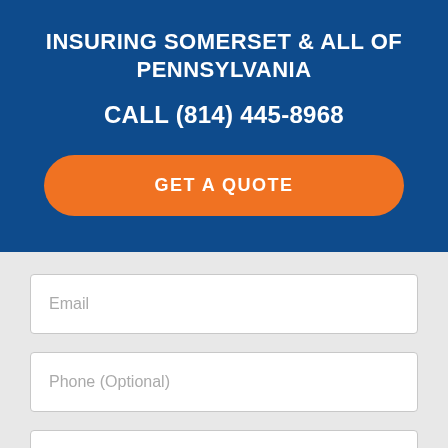INSURING SOMERSET & ALL OF PENNSYLVANIA
CALL (814) 445-8968
GET A QUOTE
Email
Phone (Optional)
Type of Insurance